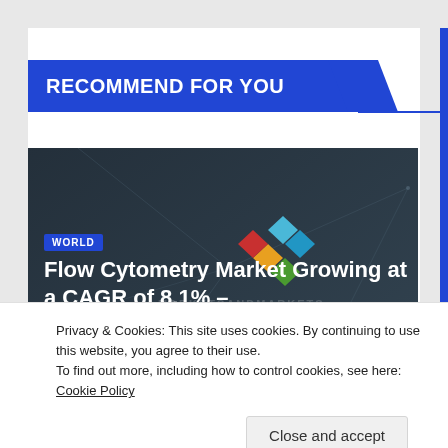RECOMMEND FOR YOU
[Figure (screenshot): Dark teal/navy background image with a WORLD badge and headline: Flow Cytometry Market Growing at a CAGR of 8.1% – with a colorful diamond logo watermark]
Privacy & Cookies: This site uses cookies. By continuing to use this website, you agree to their use.
To find out more, including how to control cookies, see here: Cookie Policy
Close and accept
[Figure (screenshot): Partial bottom strip showing WORLD badge and colorful diamond logo on dark background]